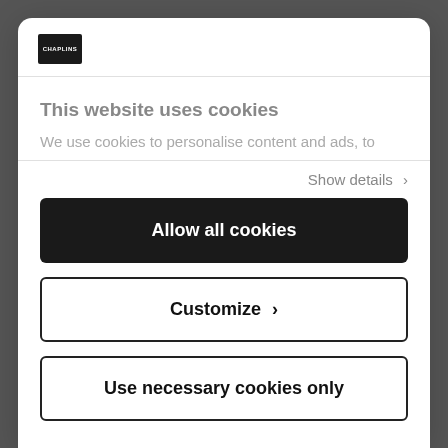[Figure (logo): Chaplins brand logo — white text on black square background]
This website uses cookies
We use cookies to personalise content and ads, to
Show details ›
Allow all cookies
Customize ›
Use necessary cookies only
Powered by Cookiebot by Usercentrics